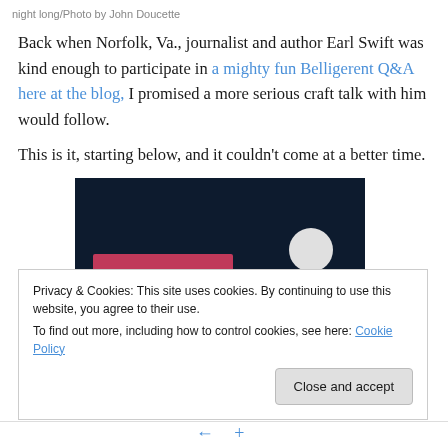night long/Photo by John Doucette
Back when Norfolk, Va., journalist and author Earl Swift was kind enough to participate in a mighty fun Belligerent Q&A here at the blog, I promised a more serious craft talk with him would follow.
This is it, starting below, and it couldn't come at a better time.
[Figure (photo): Dark navy background image with a pink/crimson horizontal bar element at lower left and a light grey circle shape at lower right, partially visible book cover or promotional image.]
Privacy & Cookies: This site uses cookies. By continuing to use this website, you agree to their use.
To find out more, including how to control cookies, see here: Cookie Policy
Close and accept